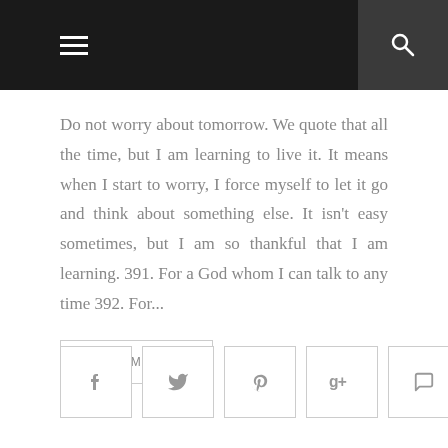Navigation header with menu and search icons
Do not worry about tomorrow. We quote that all the time, but I am learning to live it. It means when I start to worry, I force myself to let it go and think about something else. It isn't easy sometimes, but I am so thankful that I am learning. 391. For a God whom I can talk to any time 392. For...
READ MORE...
[Figure (other): Row of five social media icon buttons: Facebook, Twitter, Pinterest, Google+, Comment]